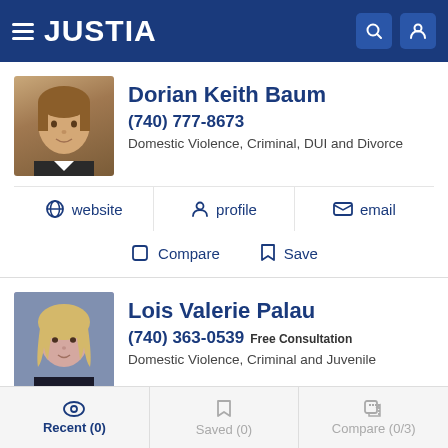JUSTIA
Dorian Keith Baum
(740) 777-8673
Domestic Violence, Criminal, DUI and Divorce
website | profile | email
Compare | Save
Lois Valerie Palau
(740) 363-0539 Free Consultation
Domestic Violence, Criminal and Juvenile
profile | email
Recent (0) | Saved (0) | Compare (0/3)